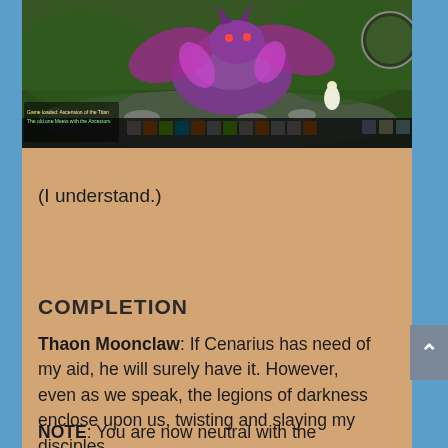[Figure (screenshot): World of Warcraft game screenshot showing a large purple dragon-like creature in a green outdoor area with game UI elements at the bottom including action bars and minimap]
(I understand.)
COMPLETION
Thaon Moonclaw: If Cenarius has need of my aid, he will surely have it. However, even as we speak, the legions of darkness enclose upon us, twisting and slaying my disciples.
NOTE: You are now neutral with the